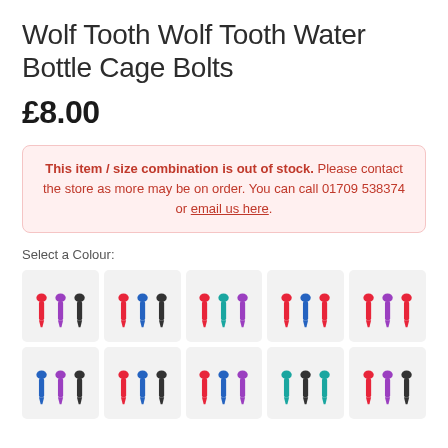Wolf Tooth Wolf Tooth Water Bottle Cage Bolts
£8.00
This item / size combination is out of stock. Please contact the store as more may be on order. You can call 01709 538374 or email us here.
Select a Colour:
[Figure (photo): Grid of 10 colour option swatches showing sets of coloured bolts in various colour combinations (red/purple/black, red/blue/black, red/teal/purple, red/blue, red/purple, blue/purple/black, red/blue/black, red/blue/purple, teal/black, red/purple/black)]